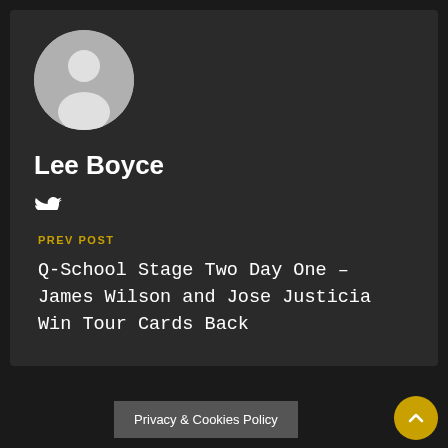[Figure (illustration): Circular avatar placeholder with grey background and white silhouette of a person]
Lee Boyce
[Figure (illustration): Twitter bird icon in white]
PREV POST
Q-School Stage Two Day One – James Wilson and Jose Justicia Win Tour Cards Back
Privacy & Cookies Policy